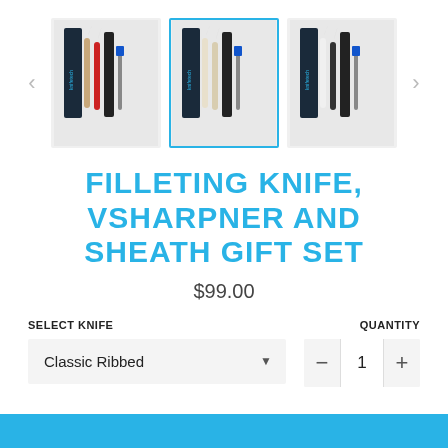[Figure (photo): Three product thumbnail images of filleting knife sets with sharpener and sheath, middle image is selected with blue border. Left/right navigation arrows flank the thumbnails.]
FILLETING KNIFE, VSHARPNER AND SHEATH GIFT SET
$99.00
SELECT KNIFE
QUANTITY
Classic Ribbed
1